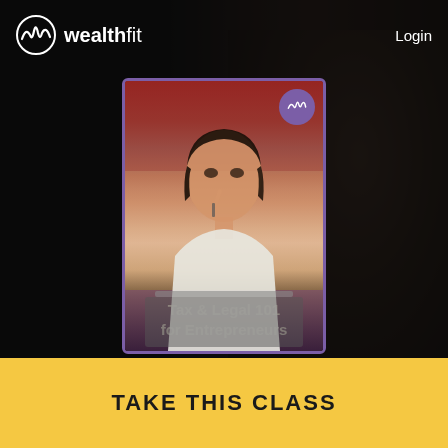[Figure (screenshot): WealthFit website screenshot showing a woman studying at a laptop, with a book cover card for 'Tax & Legal 101 for Entrepreneurs' overlaid. Dark background with the WealthFit logo top-left and Login link top-right.]
wealthfit   Login
Tax & Legal 101 for Entrepreneurs
A 60-Minute Online Class
TAKE THIS CLASS